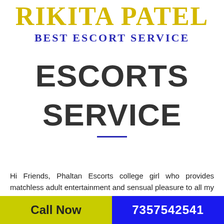RIKITA PATEL
BEST ESCORT SERVICE
ESCORTS SERVICE
Hi Friends, Phaltan Escorts college girl who provides matchless adult entertainment and sensual pleasure to all my esteemed clients. Booking an independent Phaltan Escorts for hookup or dinner dating, party or tour companionship can be one of the best decisions in your life. Be it multiple orgasms, kinky sex, erotic body
Call Now  7357542541